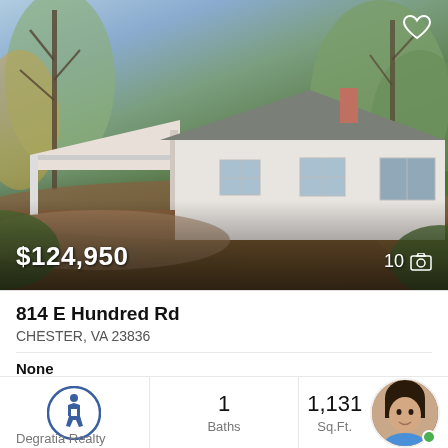[Figure (photo): Exterior photo of a small white ranch-style house with a carport, surrounded by trees with autumn foliage, taken on a clear day.]
$124,950
10
814 E Hundred Rd
CHESTER, VA 23836
None
1
Baths
1,131
Sq.Ft.
Degratia Realty